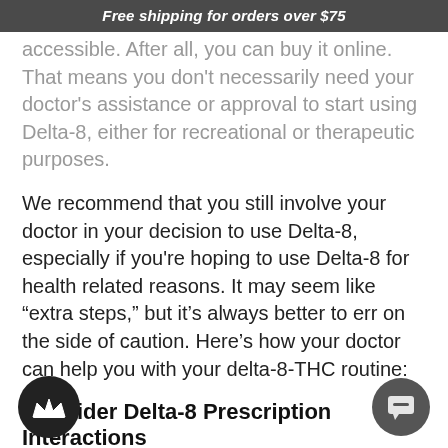Free shipping for orders over $75
accessible. After all, you can buy it online. That means you don't necessarily need your doctor's assistance or approval to start using Delta-8, either for recreational or therapeutic purposes.
We recommend that you still involve your doctor in your decision to use Delta-8, especially if you're hoping to use Delta-8 for health related reasons. It may seem like “extra steps,” but it’s always better to err on the side of caution. Here’s how your doctor can help you with your delta-8-THC routine:
Consider Delta-8 Prescription Interactions
Although you can easily buy Delta-8 without a prescription, you should still carefully consider possible drug interactions, especially if you take other